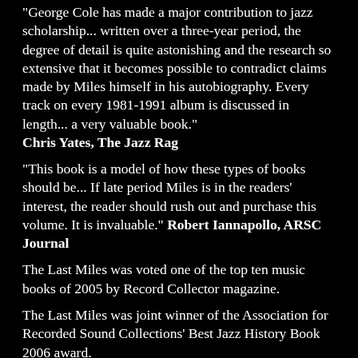“George Cole has made a major contribution to jazz scholarship... written over a three-year period, the degree of detail is quite astonishing and the research so extensive that it becomes possible to contradict claims made by Miles himself in his autobiography. Every track on every 1981-1991 album is discussed in length... a very valuable book.” Chris Yates, The Jazz Rag
“This book is a model of how these types of books should be... If late period Miles is in the readers' interest, the reader should rush out and purchase this volume. It is invaluable.” Robert Iannapollo, ARSC Journal
The Last Miles was voted one of the top ten music books of 2005 by Record Collector magazine.
The Last Miles was joint winner of the Association for Recorded Sound Collections' Best Jazz History Book 2006 award.